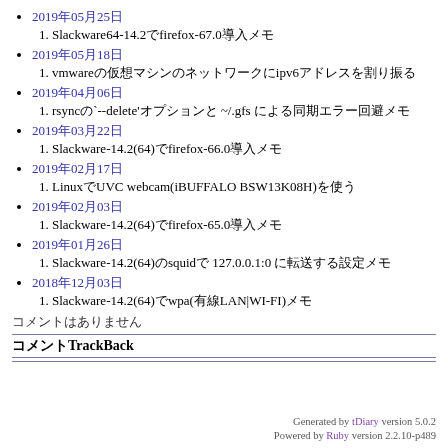2019年05月25日
1. Slackware64-14.2でfirefox-67.0導入メモ
2019年05月18日
1. vmwareの仮想マシンのネットワークにipv6アドレスを割り振る
2019年04月06日
1. rsyncの`--delete'オプションと ~/.gvfs による同期エラー回避メモ
2019年03月22日
1. Slackware-14.2(64)でfirefox-66.0導入メモ
2019年02月17日
1. LinuxでUVC webcam(iBUFFALO BSW13K08H)を使う
2019年02月03日
1. Slackware-14.2(64)でfirefox-65.0導入メモ
2019年01月26日
1. Slackware-14.2(64)のsquidで 127.0.0.1:0 に転送する設定メモ
2018年12月03日
1. Slackware-14.2(64)でwpa(有線LAN|WI-FI)メモ
コメントはありません
コメントTrackBack
Generated by tDiary version 5.0.2
Powered by Ruby version 2.2.10-p489